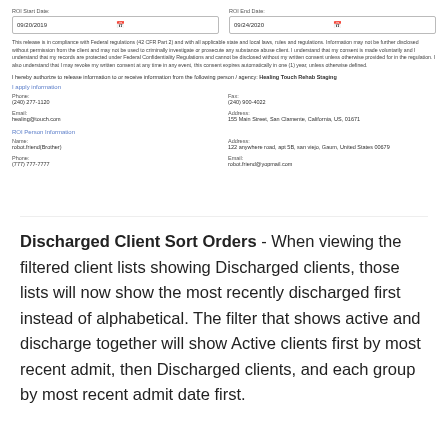ROI Start Date: 09/20/2019 | ROI End Date: 09/24/2020
This release is in compliance with Federal regulations (42 CFR Part 2) and with all applicable state and local laws, rules and regulations. Information may not be further disclosed without permission from the client and may not be used to criminally investigate or prosecute any substance abuse client. I understand that my consent is made voluntarily and I understand that my records are protected under Federal Confidentiality Regulations and cannot be disclosed without my written consent unless otherwise provided for in the regulation. I also understand that I may revoke my written consent at any time in any event, this consent expires automatically in one (1) year, unless otherwise defined.
I hereby authorize to release information to or receive information from the following person / agency: Healing Touch Rehab Staging
I apply information
Phone: (240) 277-1120 | Fax: (240) 900-4022
Email: healing@touch.com | Address: 155 Main Street, San Clamente, California, US, 01671
ROI Person Information
Name: robot.friend(Brother) | Address: 122 anywhere road, apt 5B, san viejo, Gaum, United States 00679
Phone: (777) 777-7777 | Email: robot.friend@yopmail.com
Discharged Client Sort Orders - When viewing the filtered client lists showing Discharged clients, those lists will now show the most recently discharged first instead of alphabetical. The filter that shows active and discharge together will show Active clients first by most recent admit, then Discharged clients, and each group by most recent admit date first.